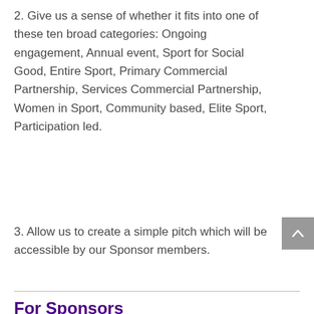2. Give us a sense of whether it fits into one of these ten broad categories: Ongoing engagement, Annual event, Sport for Social Good, Entire Sport, Primary Commercial Partnership, Services Commercial Partnership, Women in Sport, Community based, Elite Sport, Participation led.
3. Allow us to create a simple pitch which will be accessible by our Sponsor members.
For Sponsors